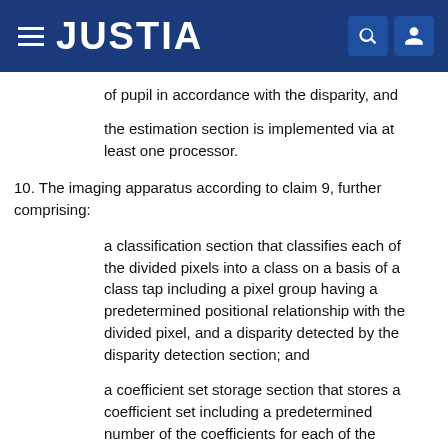JUSTIA
of pupil in accordance with the disparity, and
the estimation section is implemented via at least one processor.
10. The imaging apparatus according to claim 9, further comprising:
a classification section that classifies each of the divided pixels into a class on a basis of a class tap including a pixel group having a predetermined positional relationship with the divided pixel, and a disparity detected by the disparity detection section; and
a coefficient set storage section that stores a coefficient set including a predetermined number of the coefficients for each of the classes,